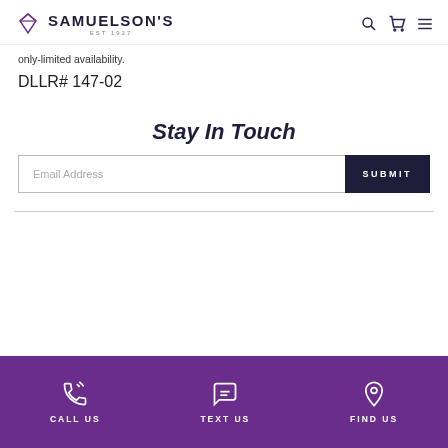SAMUELSON'S
only-limited availability.
DLLR# 147-02
Stay In Touch
Email Address
SUBMIT
CALL US  TEXT US  FIND US